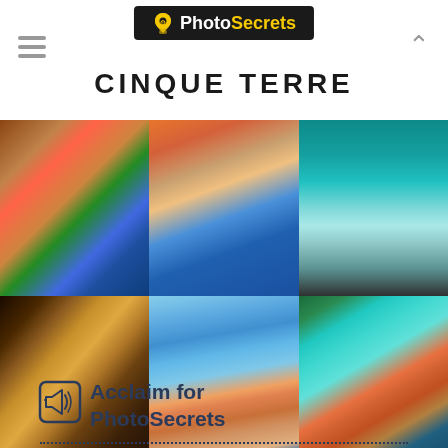PhotoSecrets — CINQUE TERRE
[Figure (photo): Six photo grid of Cinque Terre locations: coastal village with colorful buildings and waves, aerial view of colorful hillside town, aerial harbor view with boats, dark stairway alley, aerial view of Vernazza harbor town, panoramic view of Vernazza with turquoise bay]
Acclaim for PhotoSecrets